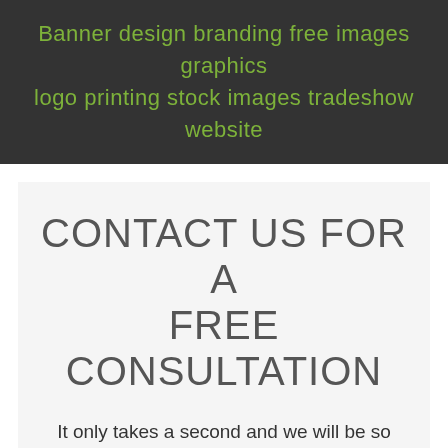Banner design branding free images graphics logo printing stock images tradeshow website
CONTACT US FOR A FREE CONSULTATION
It only takes a second and we will be so glad you did!
This website uses cookies to improve your experience. We'll assume you're ok with this, but you can opt-out if you wish.
Cookie settings   ACCEPT